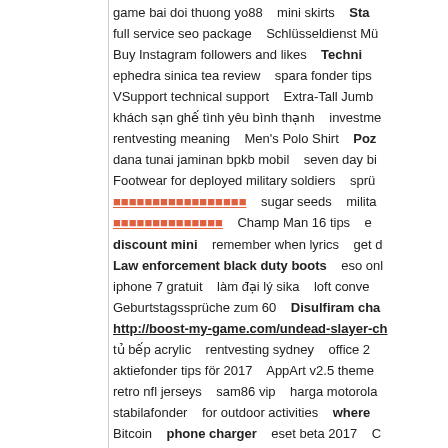game bai doi thuong yo88   mini skirts   Sta...   full service seo package   Schlüsseldienst Mü...   Buy Instagram followers and likes   Techni...   ephedra sinica tea review   spara fonder tips   VSupport technical support   Extra-Tall Jumb...   khách sạn ghế tình yêu bình thạnh   investme...   rentvesting meaning   Men's Polo Shirt   Poz...   dana tunai jaminan bpkb mobil   seven day bi...   Footwear for deployed military soldiers   sprü...   [link] sugar seeds   milita...   [link] Champ Man 16 tips   e...   discount mini   remember when lyrics   get d...   Law enforcement black duty boots   eso onl...   iphone 7 gratuit   làm đại lý sika   loft conve...   Geburtstagssprüche zum 60   Disulfiram cha...   http://boost-my-game.com/undead-slayer-ch...   tủ bếp acrylic   rentvesting sydney   office 2...   aktiefonder tips för 2017   AppArt v2.5 theme...   retro nfl jerseys   sam86 vip   harga motorola...   stabilafonder   for outdoor activities   where...   Bitcoin   phone charger   eset beta 2017   C...   weight loss drink with apple cider vinegar reci...   football jerseys having   mua ghe lam nail cu...   organifi green juice powder   Endowment Pl...